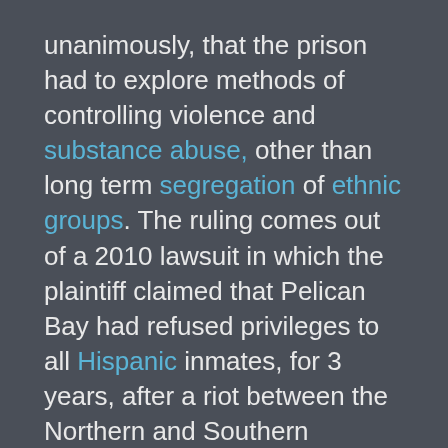unanimously, that the prison had to explore methods of controlling violence and substance abuse, other than long term segregation of ethnic groups. The ruling comes out of a 2010 lawsuit in which the plaintiff claimed that Pelican Bay had refused privileges to all Hispanic inmates, for 3 years, after a riot between the Northern and Southern Mexican gangs.
The California Department of Corrections counters that the 2 groups are at war, and need to be segregated from one another. Further, they claim that the only method of